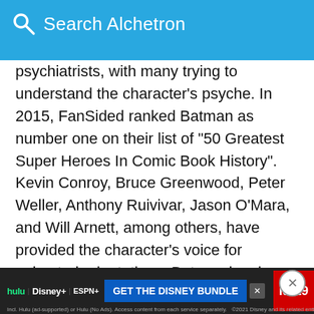Search Alchetron
psychiatrists, with many trying to understand the character's psyche. In 2015, FanSided ranked Batman as number one on their list of "50 Greatest Super Heroes In Comic Book History". Kevin Conroy, Bruce Greenwood, Peter Weller, Anthony Ruivivar, Jason O'Mara, and Will Arnett, among others, have provided the character's voice for animated adaptations. Batman has been portrayed in both film and television by Lewis Wilson, Robert Lowery, Adam West, Michael Keaton, Val Kilmer, George Clooney, Christian Bale, and Ben Affleck.
How
[Figure (screenshot): Advertisement banner for Disney Bundle (Hulu, Disney+, ESPN+) with 'GET THE DISNEY BUNDLE' button and COVID-19 related red tag 'id-19']